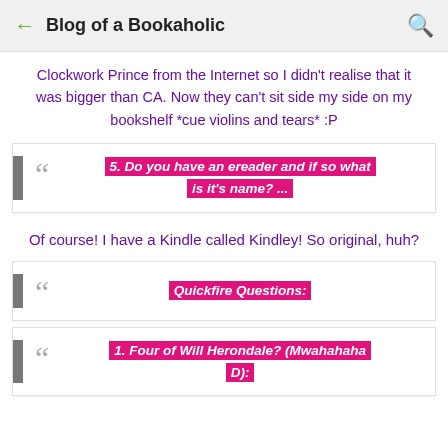Blog of a Bookaholic
Clockwork Prince from the Internet so I didn't realise that it was bigger than CA. Now they can't sit side my side on my bookshelf *cue violins and tears* :P
5. Do you have an ereader and if so what is it's name? ...
Of course! I have a Kindle called Kindley! So original, huh?
Quickfire Questions:
1. Four of Will Herondale? (Mwahahaha D):